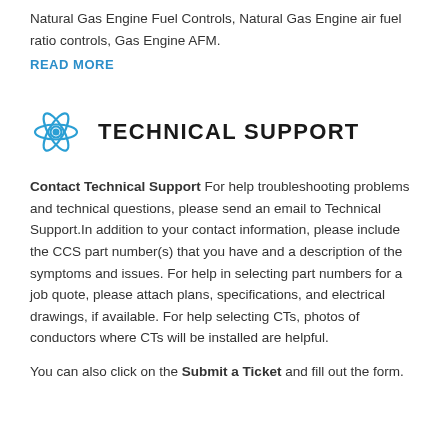Natural Gas Engine Fuel Controls, Natural Gas Engine air fuel ratio controls, Gas Engine AFM.
READ MORE
TECHNICAL SUPPORT
Contact Technical Support For help troubleshooting problems and technical questions, please send an email to Technical Support.In addition to your contact information, please include the CCS part number(s) that you have and a description of the symptoms and issues. For help in selecting part numbers for a job quote, please attach plans, specifications, and electrical drawings, if available. For help selecting CTs, photos of conductors where CTs will be installed are helpful.
You can also click on the Submit a Ticket and fill out the form.